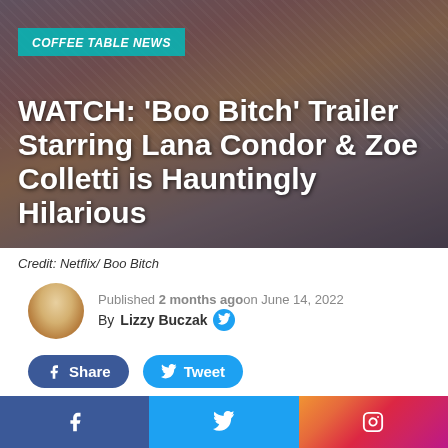[Figure (photo): Hero image showing people with colorful clothing, overlaid with article title and badge]
WATCH: ‘Boo Bitch’ Trailer Starring Lana Condor & Zoe Colletti is Hauntingly Hilarious
Credit: Netflix/ Boo Bitch
Published 2 months agoon June 14, 2022
By Lizzy Buczak
If we were to give you only one reason why Boo Bitch most deserves your attention this TV season, it would be
f    